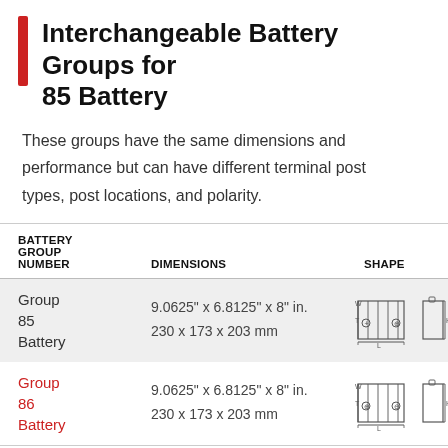Interchangeable Battery Groups for 85 Battery
These groups have the same dimensions and performance but can have different terminal post types, post locations, and polarity.
| BATTERY GROUP NUMBER | DIMENSIONS | SHAPE |
| --- | --- | --- |
| Group 85 Battery | 9.0625" x 6.8125" x 8" in.
230 x 173 x 203 mm | [diagram] |
| Group 86 Battery | 9.0625" x 6.8125" x 8" in.
230 x 173 x 203 mm | [diagram] |